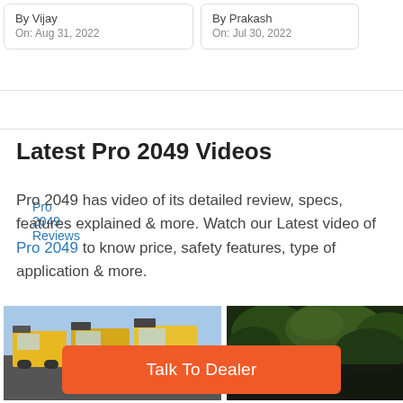By Vijay
On: Aug 31, 2022
By Prakash
On: Jul 30, 2022
Pro 2049 Reviews
Latest Pro 2049 Videos
Pro 2049 has video of its detailed review, specs, features explained & more. Watch our Latest video of Pro 2049 to know price, safety features, type of application & more.
[Figure (photo): Yellow trucks parked in a row, outdoor setting with blue sky]
[Figure (photo): Green trees in background, dark overlay]
Talk To Dealer